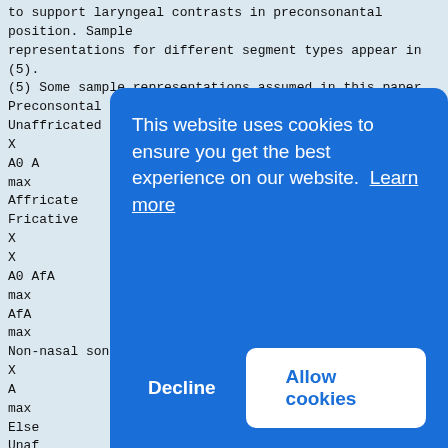to support laryngeal contrasts in preconsonantal
position. Sample
representations for different segment types appear in
(5).
(5) Some sample representations assumed in this paper
Preconsontal Position
Unaffricated stop
X
A0 A
max
Affricate
Fricative
X
X
A0 AfA
max
AfA
max
Non-nasal sonorant
X
A
max
Else
Unaf
X
A0
Affr
X
A0 A
Fric
X
Af
Non-nasal sonorant